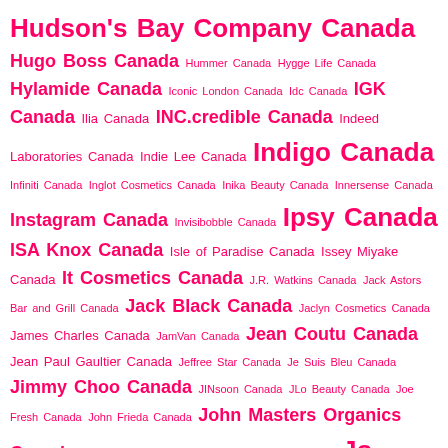Hudson's Bay Company Canada Hugo Boss Canada Hummer Canada Hygge Life Canada Hylamide Canada Iconic London Canada Idc Canada IGK Canada Ilia Canada INC.credible Canada Indeed Laboratories Canada Indie Lee Canada Indigo Canada Infiniti Canada Inglot Cosmetics Canada Inika Beauty Canada Innersense Canada Instagram Canada Invisibobble Canada Ipsy Canada ISA Knox Canada Isle of Paradise Canada Issey Miyake Canada It Cosmetics Canada J.R. Watkins Canada Jack Astors Bar and Grill Canada Jack Black Canada Jaclyn Cosmetics Canada James Charles Canada JamVan Canada Jean Coutu Canada Jean Paul Gaultier Canada Jeffree Star Canada Je Suis Bleu Canada Jimmy Choo Canada JINsoon Canada JLo Beauty Canada Joe Fresh Canada John Frieda Canada John Masters Organics Canada John Varvatos Canada Jolly Rancher Canada Jo Malone Canada Josie Maran Cosmetics Canada Jouer Cosmetics Canada Jouviance Canada Jowaé Canada Juice Beauty Canada